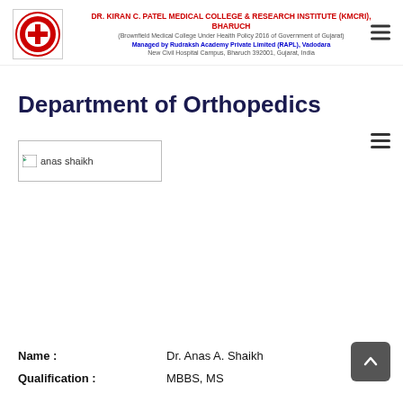DR. KIRAN C. PATEL MEDICAL COLLEGE & RESEARCH INSTITUTE (KMCRI), BHARUCH
(Brownfield Medical College Under Health Policy 2016 of Government of Gujarat)
Managed by Rudraksh Academy Private Limited (RAPL), Vadodara
New Civil Hospital Campus, Bharuch 392001, Gujarat, India
Department of Orthopedics
[Figure (photo): Broken image placeholder with alt text 'anas shaikh']
Name :    Dr. Anas A. Shaikh
Qualification :    MBBS, MS